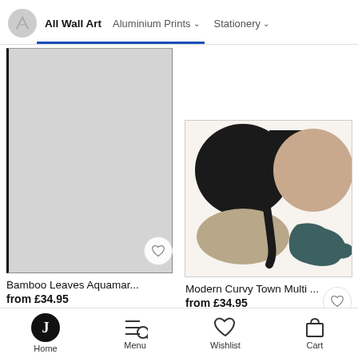All Wall Art | Aluminium Prints | Stationery
[Figure (photo): Gray placeholder rectangle representing Bamboo Leaves Aquamarine print product image with thin black border]
Bamboo Leaves Aquamar...
from £34.95
[Figure (photo): Abstract art print: Modern Curvy Town Multi - black organic shapes, beige oval, teal curved shape on white background]
Modern Curvy Town Multi ...
from £34.95
Home | Menu | Wishlist | Cart